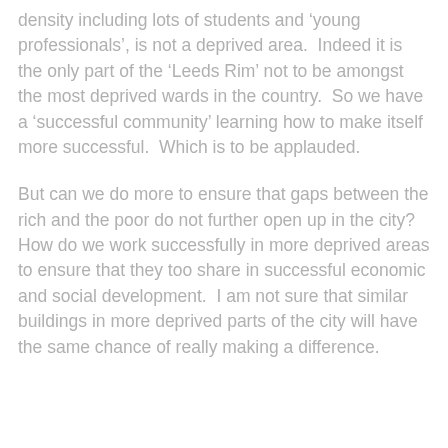density including lots of students and 'young professionals', is not a deprived area.  Indeed it is the only part of the ‘Leeds Rim’ not to be amongst the most deprived wards in the country.  So we have a ‘successful community’ learning how to make itself more successful.  Which is to be applauded.
But can we do more to ensure that gaps between the rich and the poor do not further open up in the city?  How do we work successfully in more deprived areas to ensure that they too share in successful economic and social development.  I am not sure that similar buildings in more deprived parts of the city will have the same chance of really making a difference.